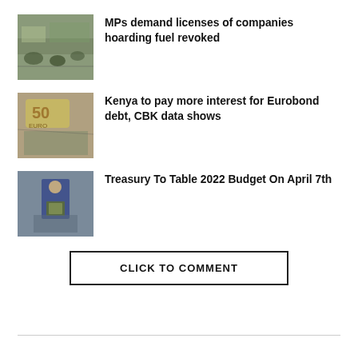[Figure (photo): Street scene with motorbikes and people, related to fuel shortage]
MPs demand licenses of companies hoarding fuel revoked
[Figure (photo): 50 Euro banknotes scattered among debris]
Kenya to pay more interest for Eurobond debt, CBK data shows
[Figure (photo): Government official in suit holding a briefcase with Kenya coat of arms]
Treasury To Table 2022 Budget On April 7th
CLICK TO COMMENT